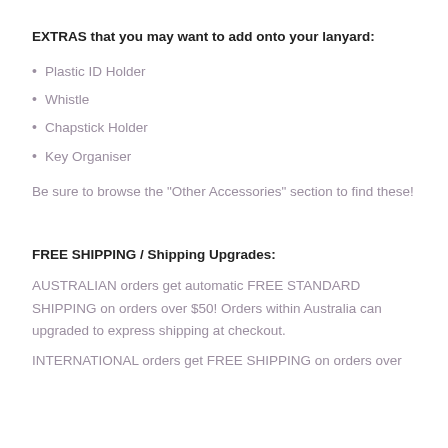EXTRAS that you may want to add onto your lanyard:
Plastic ID Holder
Whistle
Chapstick Holder
Key Organiser
Be sure to browse the "Other Accessories" section to find these!
FREE SHIPPING / Shipping Upgrades:
AUSTRALIAN orders get automatic FREE STANDARD SHIPPING on orders over $50! Orders within Australia can upgraded to express shipping at checkout.
INTERNATIONAL orders get FREE SHIPPING on orders over